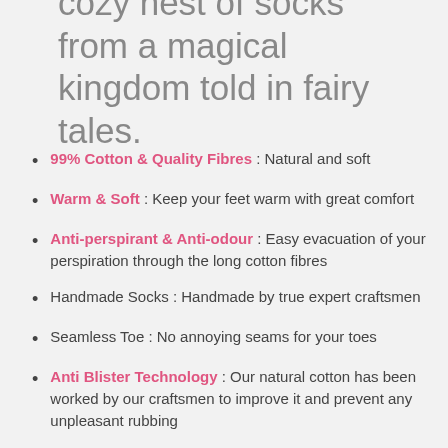cozy nest of socks from a magical kingdom told in fairy tales.
99% Cotton & Quality Fibres : Natural and soft
Warm & Soft : Keep your feet warm with great comfort
Anti-perspirant & Anti-odour : Easy evacuation of your perspiration through the long cotton fibres
Handmade Socks : Handmade by true expert craftsmen
Seamless Toe : No annoying seams for your toes
Anti Blister Technology : Our natural cotton has been worked by our craftsmen to improve it and prevent any unpleasant rubbing
Comfortable : Soft & Light, perfect for a long walk